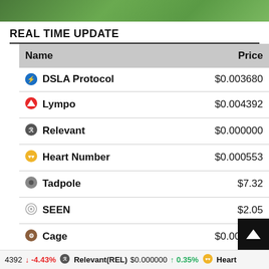[Figure (photo): Top image strip showing greenery/plants]
REAL TIME UPDATE
| Name | Price |
| --- | --- |
| DSLA Protocol | $0.003680 |
| Lympo | $0.004392 |
| Relevant | $0.000000 |
| Heart Number | $0.000553 |
| Tadpole | $7.32 |
| SEEN | $2.05 |
| Cage | $0.005010 |
| DYOR | $0.000020 |
4392  -4.43%  Relevant(REL)  $0.000000  0.35%  Heart